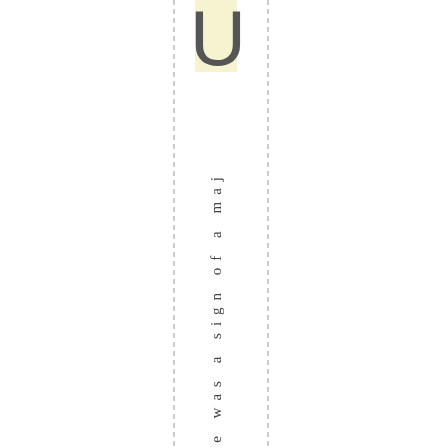[Figure (other): Large letter U partially visible at top center with cream/yellow rectangular highlight behind it, and two vertical dashed lines framing a narrow column. Vertical text reading 'If there was a sign of a maj' runs down the column.]
If there was a sign of a maj